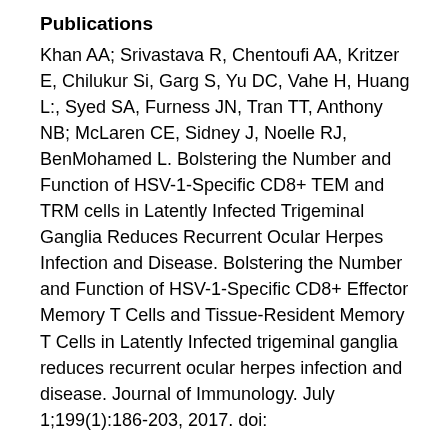Publications
Khan AA; Srivastava R, Chentoufi AA, Kritzer E, Chilukur Si, Garg S, Yu DC, Vahe H, Huang L:, Syed SA, Furness JN, Tran TT, Anthony NB; McLaren CE, Sidney J, Noelle RJ, BenMohamed L. Bolstering the Number and Function of HSV-1-Specific CD8+ TEM and TRM cells in Latently Infected Trigeminal Ganglia Reduces Recurrent Ocular Herpes Infection and Disease. Bolstering the Number and Function of HSV-1-Specific CD8+ Effector Memory T Cells and Tissue-Resident Memory T Cells in Latently Infected trigeminal ganglia reduces recurrent ocular herpes infection and disease. Journal of Immunology. July 1;199(1):186-203, 2017. doi: